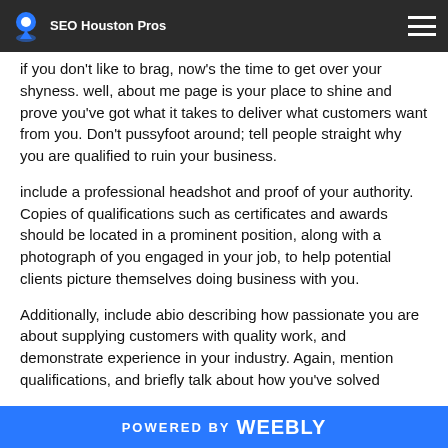SEO Houston Pros
if you don't like to brag, now's the time to get over your shyness. well, about me page is your place to shine and prove you've got what it takes to deliver what customers want from you. Don't pussyfoot around; tell people straight why you are qualified to ruin your business.
include a professional headshot and proof of your authority. Copies of qualifications such as certificates and awards should be located in a prominent position, along with a photograph of you engaged in your job, to help potential clients picture themselves doing business with you.
Additionally, include abio describing how passionate you are about supplying customers with quality work, and demonstrate experience in your industry. Again, mention qualifications, and briefly talk about how you've solved
POWERED BY weebly